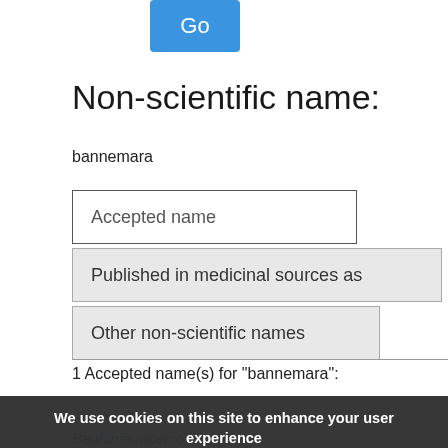[Figure (screenshot): Blue 'Go' button at top of page]
Non-scientific name:
bannemara
Accepted name
Published in medicinal sources as
Other non-scientific names
1 Accepted name(s) for "bannemara":
Accepted name
Bauhinia racemosa Lam
We use cookies on this site to enhance your user experience
By clicking any link on this page you are giving your consent for us to set cookies.
OK, I agree   No, give me more info